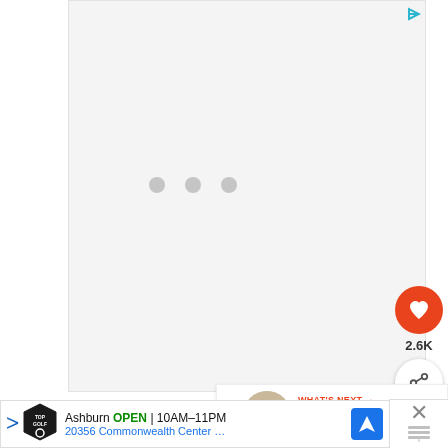[Figure (screenshot): Advertisement placeholder area with loading dots (three gray circles) in the center, light gray background with a small blue ad-choice icon in the top right corner.]
[Figure (infographic): Heart/like button (orange circle with white heart icon) showing 2.6K count, and a share button (white circle with share icon) below it on the right side.]
[Figure (screenshot): What's Next panel showing a thumbnail image of chicken dish, label 'WHAT'S NEXT' in orange with arrow, and text 'This Low Carb Chicken...' on the right side of the page.]
Ingredients
[Figure (screenshot): Bottom advertisement bar for Topgolf showing 'Ashburn OPEN 10AM-11PM' and '20356 Commonwealth Center ...' with Topgolf logo, navigation icon, and a close (X) button on the right.]